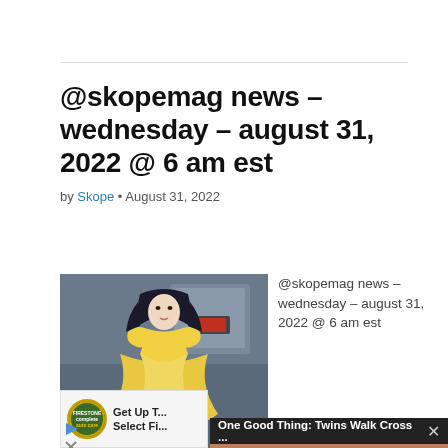@skopemag news – wednesday – august 31, 2022 @ 6 am est
by Skope • August 31, 2022
[Figure (photo): Woman in yellow bridal dress in a laundromat setting]
@skopemag news – wednesday – august 31, 2022 @ 6 am est
[Figure (screenshot): Video popup overlay: 'One Good Thing: Twins Walk Cross ...' with a photo of hands holding a red heart, and a mute button icon]
[Figure (other): Advertisement: Firestone Auto logo with text 'Get Up T... Select Fi...']